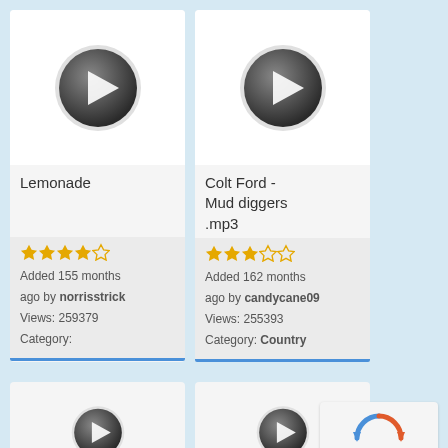[Figure (screenshot): Play button thumbnail for Lemonade music item]
Lemonade
Added 155 months ago by norrisstrick
Views: 259379
Category:
[Figure (screenshot): Play button thumbnail for Colt Ford - Mud diggers .mp3 music item]
Colt Ford - Mud diggers .mp3
Added 162 months ago by candycane09
Views: 255393
Category: Country
[Figure (screenshot): Partial play button thumbnail at bottom left]
[Figure (screenshot): Partial play button thumbnail at bottom center]
[Figure (logo): reCAPTCHA logo with Privacy and Terms text]